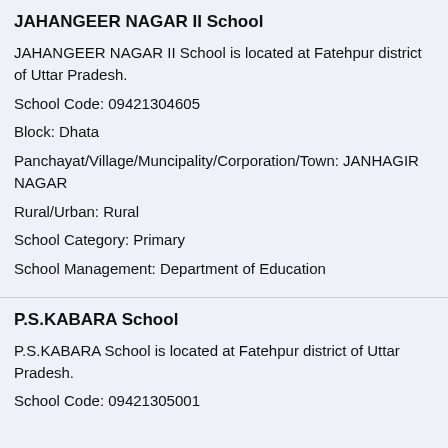JAHANGEER NAGAR II School
JAHANGEER NAGAR II School is located at Fatehpur district of Uttar Pradesh.
School Code: 09421304605
Block: Dhata
Panchayat/Village/Muncipality/Corporation/Town: JANHAGIR NAGAR
Rural/Urban: Rural
School Category: Primary
School Management: Department of Education
P.S.KABARA School
P.S.KABARA School is located at Fatehpur district of Uttar Pradesh.
School Code: 09421305001